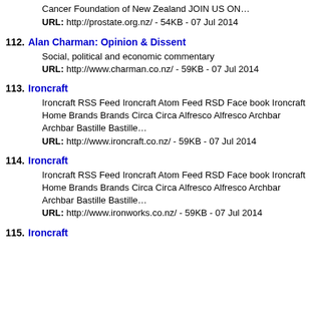Cancer Foundation of New Zealand JOIN US ON… URL: http://prostate.org.nz/ - 54KB - 07 Jul 2014
112. Alan Charman: Opinion & Dissent
Social, political and economic commentary
URL: http://www.charman.co.nz/ - 59KB - 07 Jul 2014
113. Ironcraft
Ironcraft RSS Feed Ironcraft Atom Feed RSD Face book Ironcraft Home Brands Brands Circa Circa Alfresco Alfresco Archbar Archbar Bastille Bastille…
URL: http://www.ironcraft.co.nz/ - 59KB - 07 Jul 2014
114. Ironcraft
Ironcraft RSS Feed Ironcraft Atom Feed RSD Face book Ironcraft Home Brands Brands Circa Circa Alfresco Alfresco Archbar Archbar Bastille Bastille…
URL: http://www.ironworks.co.nz/ - 59KB - 07 Jul 2014
115. Ironcraft